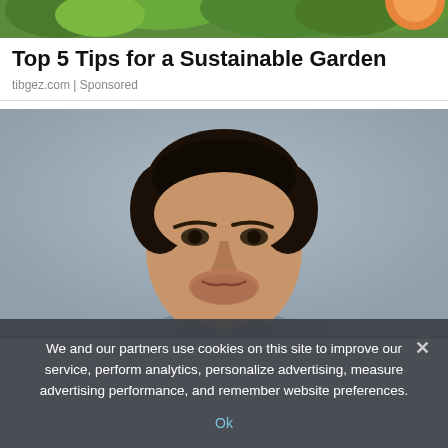[Figure (photo): Top banner showing garden plants with green leaves and an orange/yellow element, partially cropped]
Top 5 Tips for a Sustainable Garden
tibgez.com | Sponsored
[Figure (photo): Portrait photo of a young man with dark hair and beard stubble, wearing a grey shirt, looking slightly to the side against a grey background]
We and our partners use cookies on this site to improve our service, perform analytics, personalize advertising, measure advertising performance, and remember website preferences.